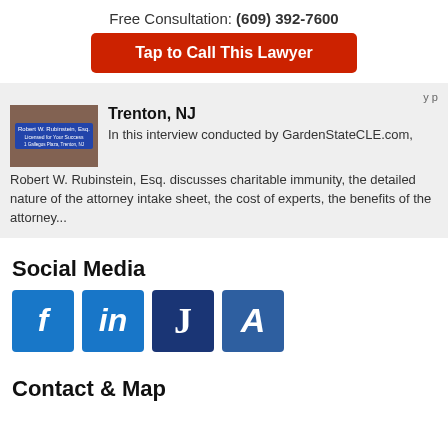Free Consultation: (609) 392-7600
Tap to Call This Lawyer
Trenton, NJ
In this interview conducted by GardenStateCLE.com, Robert W. Rubinstein, Esq. discusses charitable immunity, the detailed nature of the attorney intake sheet, the cost of experts, the benefits of the attorney...
Social Media
[Figure (logo): Social media icons: Facebook (f), LinkedIn (in), Justia (J), Avvo (A)]
Contact & Map